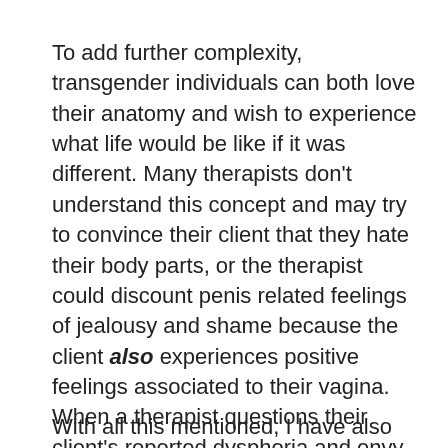To add further complexity, transgender individuals can both love their anatomy and wish to experience what life would be like if it was different. Many therapists don't understand this concept and may try to convince their client that they hate their body parts, or the therapist could discount penis related feelings of jealousy and shame because the client also experiences positive feelings associated to their vagina. When a therapist questions their client's reported dysphoria and envy, this enhances the anxiety and depression the client is feeling rather than lowering it.
With all this mentioned, I have also noticed